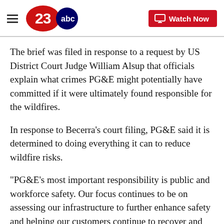[Figure (logo): 23ABC news logo with red 23 and ABC circle bug, plus hamburger menu icon on the left]
[Figure (other): Watch Now button with monitor icon, red background, white text]
The brief was filed in response to a request by US District Court Judge William Alsup that officials explain what crimes PG&E might potentially have committed if it were ultimately found responsible for the wildfires.
In response to Becerra's court filing, PG&E said it is determined to doing everything it can to reduce wildfire risks.
"PG&E's most important responsibility is public and workforce safety. Our focus continues to be on assessing our infrastructure to further enhance safety and helping our customers continue to recover and